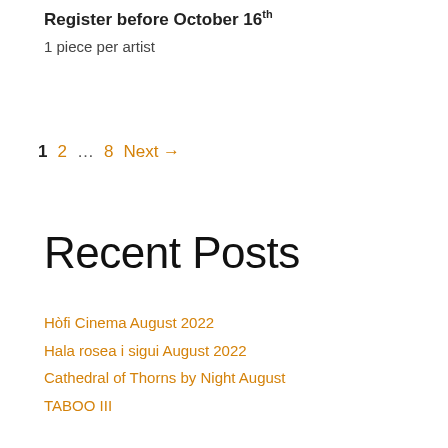Register before October 16th
1 piece per artist
1  2  …  8  Next →
Recent Posts
Hòfi Cinema August 2022
Hala rosea i sigui August 2022
Cathedral of Thorns by Night August
TABOO III